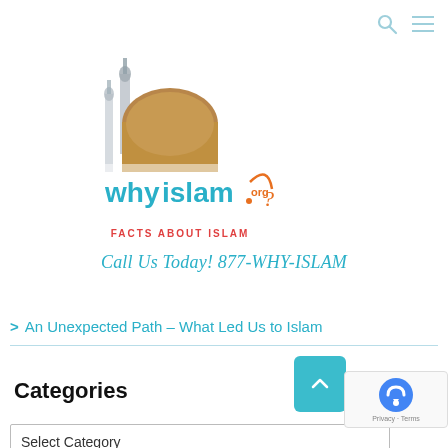[Figure (logo): WhyIslam.org logo with mosque/minaret illustration and text 'whyislam.org' with tagline 'FACTS ABOUT ISLAM']
Call Us Today! 877-WHY-ISLAM
> An Unexpected Path – What Led Us to Islam
Categories
Select Category